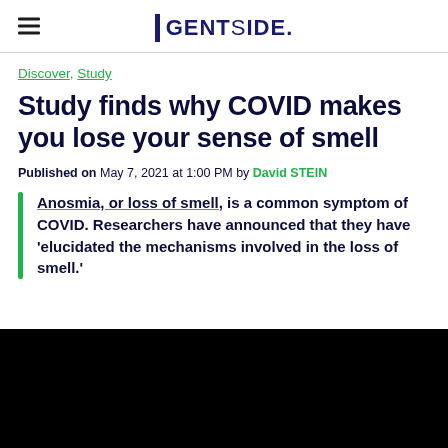GENTSIDE.
Discover, Study
Study finds why COVID makes you lose your sense of smell
Published on May 7, 2021 at 1:00 PM by David STEIN
Anosmia, or loss of smell, is a common symptom of COVID. Researchers have announced that they have 'elucidated the mechanisms involved in the loss of smell.'
[Figure (photo): Black image/photo at the bottom of the article page]